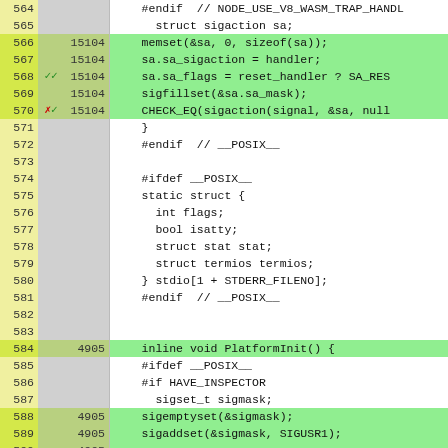[Figure (screenshot): Code coverage viewer showing C++ source lines 564-589 with line numbers, hit counts, markers, and syntax-highlighted code. Green rows indicate covered lines. Line 568 has a double-checkmark marker, line 570 has an x-checkmark marker.]